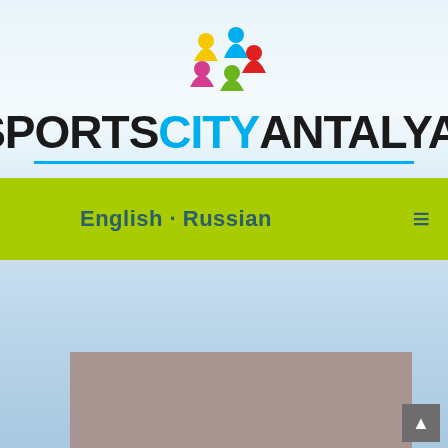[Figure (logo): Sports City Antalya logo with colorful figures (yellow, blue, red, pink, green) arranged in a circle above the wordmark 'SPORTS CITY ANTALYA' with registered trademark symbol and a cyan underline]
English · Russian
[Figure (photo): Partially visible photograph with gray/taupe toned image at the bottom of the page, showing an outdoor scene]